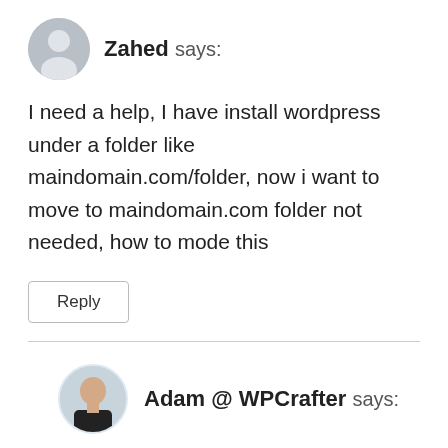[Figure (illustration): Grey circular avatar silhouette icon for user Zahed]
Zahed says:
I need a help, I have install wordpress under a folder like maindomain.com/folder, now i want to move to maindomain.com folder not needed, how to mode this
Reply
[Figure (photo): Circular profile photo of Adam @ WPCrafter, bald man in black shirt]
Adam @ WPCrafter says:
That's an easy one. Here is the tutorial